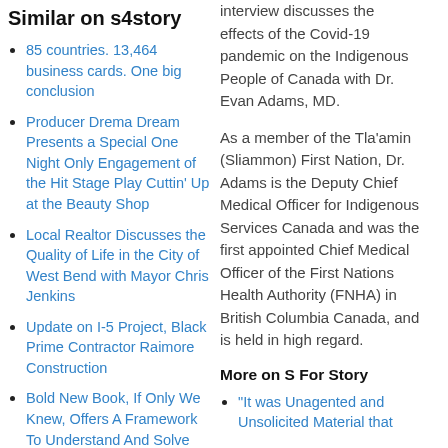Similar on s4story
85 countries. 13,464 business cards. One big conclusion
Producer Drema Dream Presents a Special One Night Only Engagement of the Hit Stage Play Cuttin' Up at the Beauty Shop
Local Realtor Discusses the Quality of Life in the City of West Bend with Mayor Chris Jenkins
Update on I-5 Project, Black Prime Contractor Raimore Construction
Bold New Book, If Only We Knew, Offers A Framework To Understand And Solve Today's Social Issues
Living Waters Inc to Host the "2022 Mental Health Summit"
Emmy Winner and Attorney Calls Individuals to Rise to Meet
interview discusses the effects of the Covid-19 pandemic on the Indigenous People of Canada with Dr. Evan Adams, MD.
As a member of the Tla'amin (Sliammon) First Nation, Dr. Adams is the Deputy Chief Medical Officer for Indigenous Services Canada and was the first appointed Chief Medical Officer of the First Nations Health Authority (FNHA) in British Columbia Canada, and is held in high regard.
More on S For Story
"It was Unagented and Unsolicited Material that